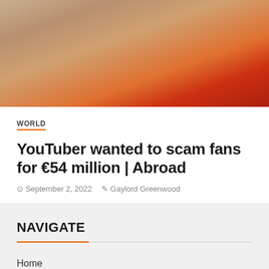[Figure (photo): Partial photo showing a person in a beige coat with orange banners/flags in the background]
WORLD
YouTuber wanted to scam fans for €54 million | Abroad
September 2, 2022   Gaylord Greenwood
NAVIGATE
Home
Top News
World
E…